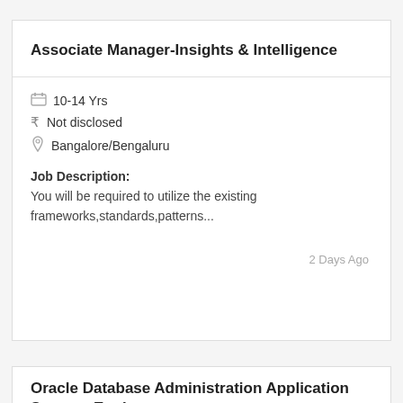Associate Manager-Insights & Intelligence
10-14 Yrs
Not disclosed
Bangalore/Bengaluru
Job Description:
You will be required to utilize the existing frameworks,standards,patterns...
2 Days Ago
Oracle Database Administration Application Support Engineer